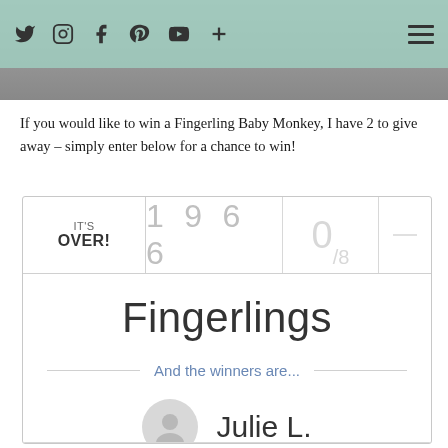Twitter Instagram Facebook Pinterest YouTube + (social icons) | Hamburger menu
[Figure (photo): Partial photo strip visible at top of page behind header bar]
If you would like to win a Fingerling Baby Monkey, I have 2 to give away – simply enter below for a chance to win!
[Figure (screenshot): Giveaway widget showing: IT'S OVER! | 1966 entries | 0/8 winners | Title: Fingerlings | And the winners are... | Winner: Julie L.]